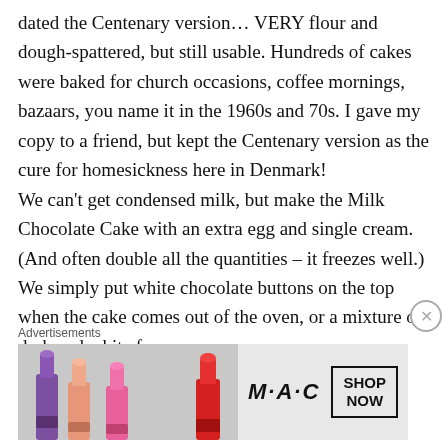dated the Centenary version… VERY flour and dough-spattered, but still usable. Hundreds of cakes were baked for church occasions, coffee mornings, bazaars, you name it in the 1960s and 70s. I gave my copy to a friend, but kept the Centenary version as the cure for homesickness here in Denmark! We can't get condensed milk, but make the Milk Chocolate Cake with an extra egg and single cream. (And often double all the quantities – it freezes well.) We simply put white chocolate buttons on the top when the cake comes out of the oven, or a mixture of dark and white for a
Advertisements
[Figure (illustration): MAC cosmetics advertisement banner showing lipsticks on the left, MAC logo in italic text in the center, and a 'SHOP NOW' box on the right.]